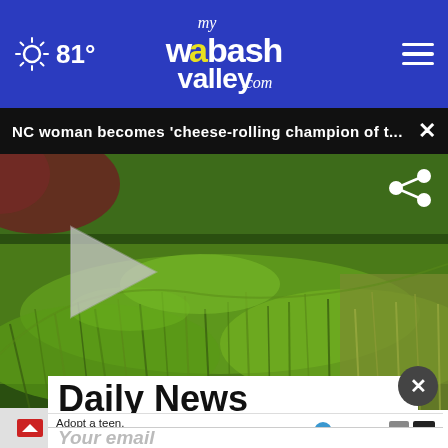81° myWabashValley.com
NC woman becomes 'cheese-rolling champion of t...
[Figure (photo): Video thumbnail showing a grassy hillside scene, with a play button overlay and share icon]
Daily News
Adopt a teen. You can't imagine the reward. AdoptUSKids
Your email